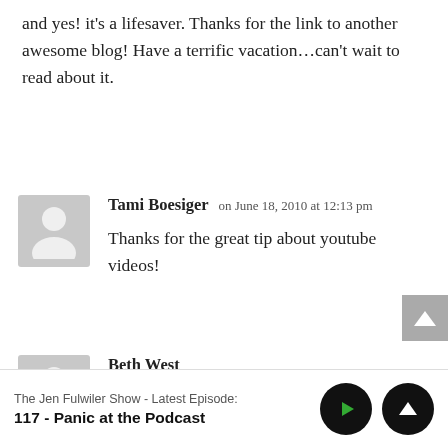and yes! it's a lifesaver. Thanks for the link to another awesome blog! Have a terrific vacation…can't wait to read about it.
Tami Boesiger on June 18, 2010 at 12:13 pm
Thanks for the great tip about youtube videos!
Beth West
The Jen Fulwiler Show - Latest Episode:
117 - Panic at the Podcast